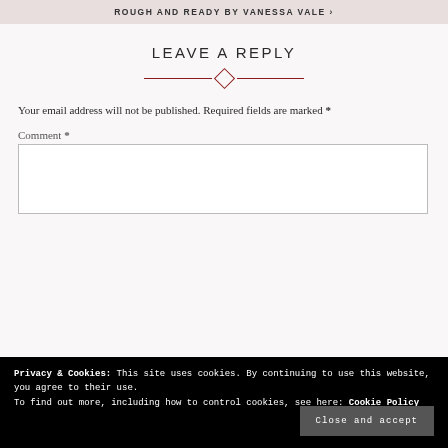ROUGH AND READY BY VANESSA VALE >
LEAVE A REPLY
Your email address will not be published. Required fields are marked *
Comment *
Privacy & Cookies: This site uses cookies. By continuing to use this website, you agree to their use.
To find out more, including how to control cookies, see here: Cookie Policy
Close and accept